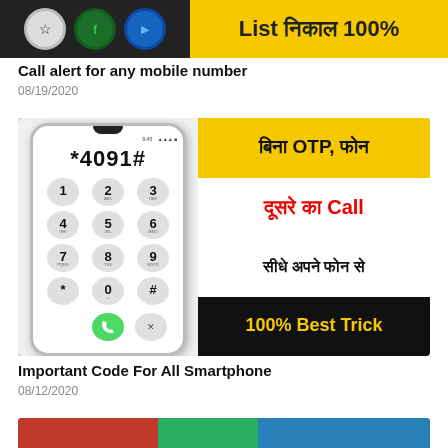[Figure (screenshot): Cropped top of a video thumbnail showing partial icons and yellow banner with Hindi text 'List निकाल 100%']
Call alert for any mobile number
08/19/2020
[Figure (screenshot): Video thumbnail showing phone with *4091# dialer and Hindi/English text: बिना OTP, फोन दूसरे का Call सीधे अपने फोन से 100% Best Trick]
Important Code For All Smartphone
08/12/2020
[Figure (screenshot): Partial bottom thumbnail showing colorful image]